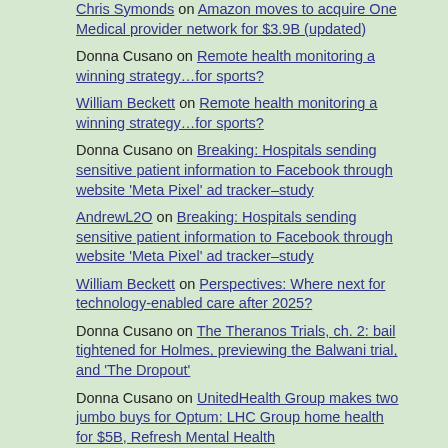Chris Symonds on Amazon moves to acquire One Medical provider network for $3.9B (updated)
Donna Cusano on Remote health monitoring a winning strategy…for sports?
William Beckett on Remote health monitoring a winning strategy…for sports?
Donna Cusano on Breaking: Hospitals sending sensitive patient information to Facebook through website 'Meta Pixel' ad tracker–study
AndrewL2O on Breaking: Hospitals sending sensitive patient information to Facebook through website 'Meta Pixel' ad tracker–study
William Beckett on Perspectives: Where next for technology-enabled care after 2025?
Donna Cusano on The Theranos Trials, ch. 2: bail tightened for Holmes, previewing the Balwani trial, and 'The Dropout'
Donna Cusano on UnitedHealth Group makes two jumbo buys for Optum: LHC Group home health for $5B, Refresh Mental Health
Rahman Danish on UnitedHealth Group makes two jumbo buys for Optum: LHC Group home health for $5B, Refresh Mental Health
William Beckett on The Theranos Trials, ch. 2: bail tightened for Holmes, previewing the Balwani trial, and 'The Dropout'